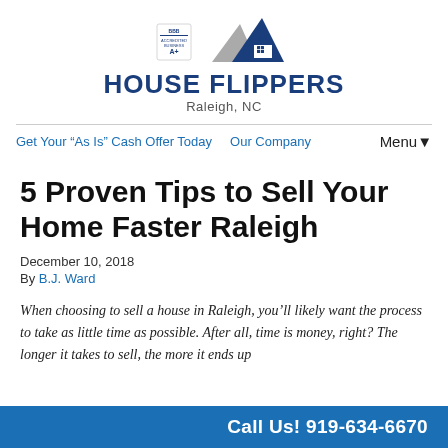[Figure (logo): House Flippers Raleigh NC logo with BBB badge and house icon with mountains]
Get Your “As Is” Cash Offer Today   Our Company   Menu▾
5 Proven Tips to Sell Your Home Faster Raleigh
December 10, 2018
By B.J. Ward
When choosing to sell a house in Raleigh, you’ll likely want the process to take as little time as possible. After all, time is money, right? The longer it takes to sell, the more it ends up
Call Us! 919-634-6670